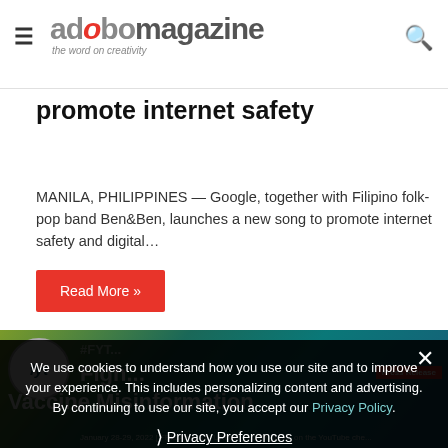adobo magazine — the word on creativity
Brands, Business: Google, Ben&Ben release Hingat music video to promote internet safety
MANILA, PHILIPPINES — Google, together with Filipino folk-pop band Ben&Ben, launches a new song to promote internet safety and digital…
Read More »
[Figure (screenshot): FYT event banner — Fighting Vaccine Misinformation, January 28-29, 2022, FRIDAY & SATURDAY 10AM, LIVE on the YouTube channel]
We use cookies to understand how you use our site and to improve your experience. This includes personalizing content and advertising. By continuing to use our site, you accept our Privacy Policy.
Privacy Preferences
I Agree